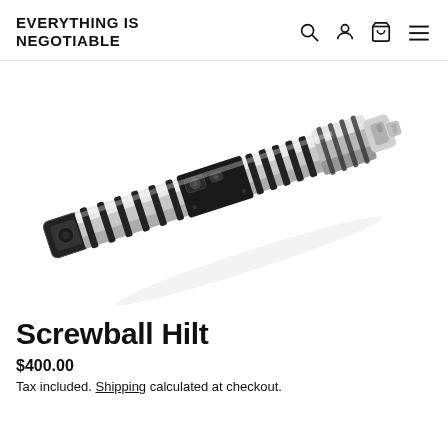EVERYTHING IS NEGOTIABLE
[Figure (photo): A metallic lightsaber-style hilt (Screwball Hilt) shown diagonally, silver and black with ridged grip sections and a black activation box with buttons, photographed on a white background.]
Screwball Hilt
$400.00
Tax included. Shipping calculated at checkout.